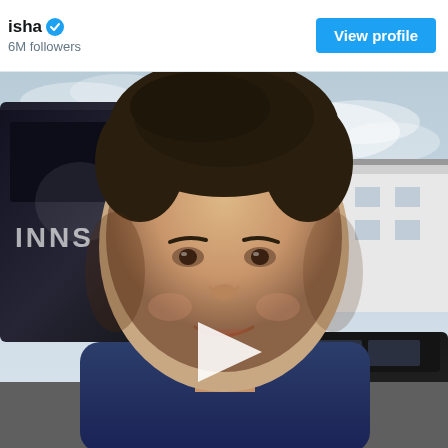isha ✓
6M followers
View profile
[Figure (photo): A man smiling close to camera in a selfie-style video thumbnail. He is wearing a dark navy blazer with a light shirt. Behind him is a dark-colored vehicle/bus with graphics on the left and a white building and dark SUV on the right. A white play button triangle is overlaid in the center of the image.]